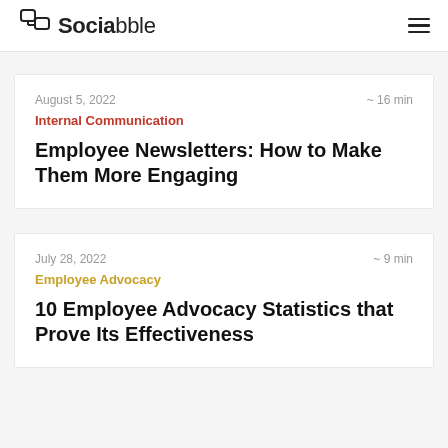Sociabble
August 5, 2022  ~ 16 min
Internal Communication
Employee Newsletters: How to Make Them More Engaging
July 28, 2022  ~ 9 min
Employee Advocacy
10 Employee Advocacy Statistics that Prove Its Effectiveness